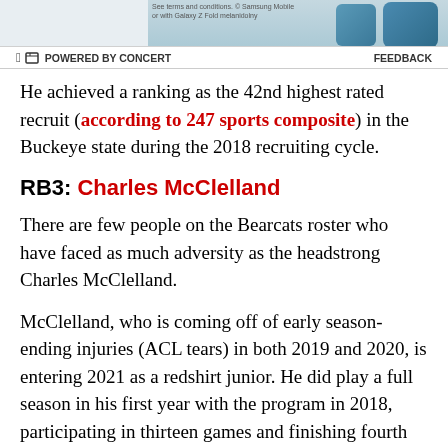[Figure (other): Advertisement banner showing Samsung Galaxy Z Fold product image with text 'See terms and conditions. © Samsung Mobile or with Galaxy Z Fold melanidolny'. Powered by Concert label and Feedback link at bottom.]
He achieved a ranking as the 42nd highest rated recruit (according to 247 sports composite) in the Buckeye state during the 2018 recruiting cycle.
RB3: Charles McClelland
There are few people on the Bearcats roster who have faced as much adversity as the headstrong Charles McClelland.
McClelland, who is coming off of early season-ending injuries (ACL tears) in both 2019 and 2020, is entering 2021 as a redshift junior. He did play a full season in his first year with the program in 2018, participating in thirteen games and finishing fourth on the team in total ground yardage with 63 carries for 495 yards and four